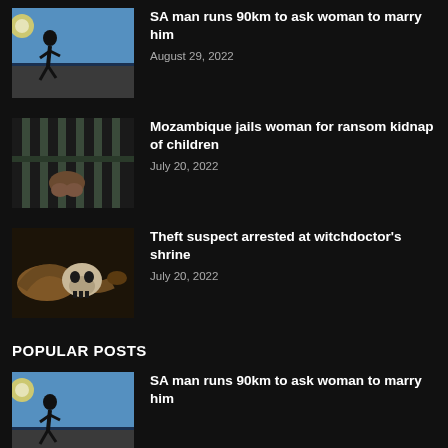SA man runs 90km to ask woman to marry him
August 29, 2022
Mozambique jails woman for ransom kidnap of children
July 20, 2022
Theft suspect arrested at witchdoctor's shrine
July 20, 2022
POPULAR POSTS
SA man runs 90km to ask woman to marry him